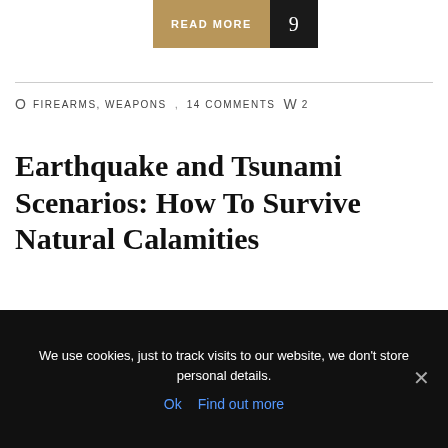READ MORE  9
O  FIREARMS, WEAPONS  ,  14 COMMENTS  W  2
Earthquake and Tsunami Scenarios: How To Survive Natural Calamities
Natural disasters are all scary; but one of the scariest ones to be caught in is an earthquake. There’s nothing else that compares with the stark terror that comes
We use cookies, just to track visits to our website, we don't store personal details.
Ok  Find out more